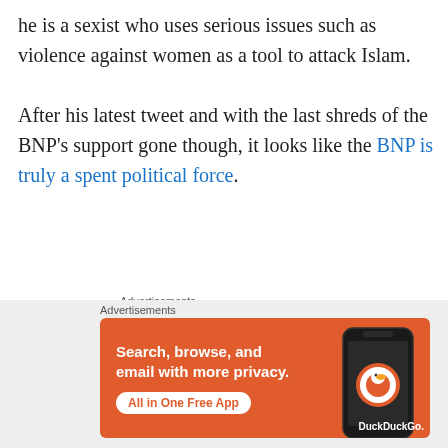he is a sexist who uses serious issues such as violence against women as a tool to attack Islam.
After his latest tweet and with the last shreds of the BNP's support gone though, it looks like the BNP is truly a spent political force.
Advertisements
[Figure (other): Pressable advertisement banner with blue bar header, Pressable logo and icon, dots, and large bold text 'The Platform' and partial text below]
[Figure (other): DuckDuckGo advertisement banner on orange background with text 'Search, browse, and email with more privacy. All in One Free App' and phone graphic with DuckDuckGo logo]